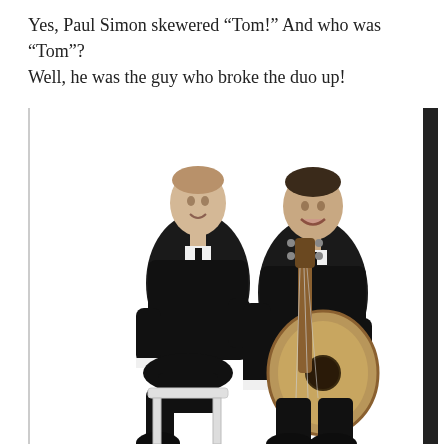Yes, Paul Simon skewered “Tom!” And who was “Tom”? Well, he was the guy who broke the duo up!
[Figure (photo): Black and white photograph of two young men in dark suits. The taller man on the left is seated on a white step stool with legs crossed, singing. The shorter man on the right is standing and playing an acoustic guitar, also singing. White background.]